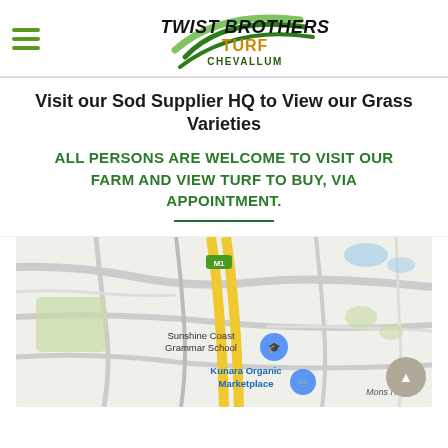[Figure (logo): Twist Brothers Turf Chevallum logo with green swoosh design and hamburger menu icon]
Visit our Sod Supplier HQ to View our Grass Varieties
ALL PERSONS ARE WELCOME TO VISIT OUR FARM AND VIEW TURF TO BUY, VIA APPOINTMENT.
[Figure (map): Google Maps screenshot showing Sunshine Coast Grammar School and Kunara Organic Marketplace near Mons Rd, with M1 motorway visible. Yellow highway and road network visible.]